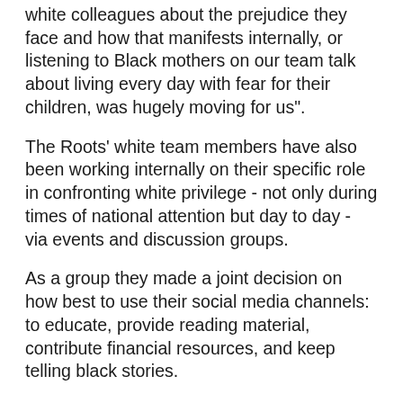white colleagues about the prejudice they face and how that manifests internally, or listening to Black mothers on our team talk about living every day with fear for their children, was hugely moving for us".
The Roots' white team members have also been working internally on their specific role in confronting white privilege - not only during times of national attention but day to day - via events and discussion groups.
As a group they made a joint decision on how best to use their social media channels: to educate, provide reading material, contribute financial resources, and keep telling black stories.
Arghandiwal himself is somewhat sceptical of what we’ve seen on social media in the last couple weeks, where Black Lives Matter posting feels more like a PR stunt, ultimately done because it looks bad not to.
In a city historically accustomed to racial dissonance, whether its supporting local businesses impacted by the